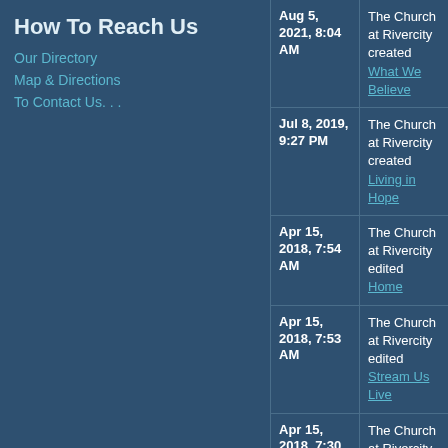How To Reach Us
Our Directory
Map & Directions
To Contact Us. . .
| Date | Action |
| --- | --- |
| Aug 5, 2021, 8:04 AM | The Church at Rivercity created What We Believe |
| Jul 8, 2019, 9:27 PM | The Church at Rivercity created Living in Hope |
| Apr 15, 2018, 7:54 AM | The Church at Rivercity edited Home |
| Apr 15, 2018, 7:53 AM | The Church at Rivercity edited Stream Us Live |
| Apr 15, 2018, 7:30 AM | The Church at Rivercity edited Home |
| Apr 15, 2018, 7:23 AM | The Church at Rivercity edited Home |